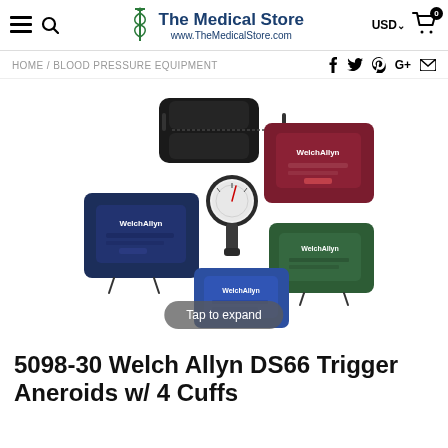The Medical Store www.TheMedicalStore.com USD 0
HOME / BLOOD PRESSURE EQUIPMENT
[Figure (photo): Welch Allyn DS66 Trigger Aneroids kit with 4 cuffs (navy, burgundy, green, blue) and a black carrying case, with a sphygmomanometer gauge visible. Tap to expand button overlay at bottom.]
5098-30 Welch Allyn DS66 Trigger Aneroids w/ 4 Cuffs